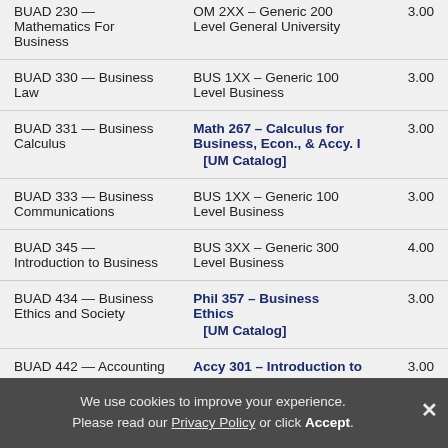| Course | Transfer Equivalent | Credits |
| --- | --- | --- |
| BUAD 230 — Mathematics For Business | OM 2XX – Generic 200 Level General University | 3.00 |
| BUAD 330 — Business Law | BUS 1XX – Generic 100 Level Business | 3.00 |
| BUAD 331 — Business Calculus | Math 267 – Calculus for Business, Econ., & Accy. I
[UM Catalog] | 3.00 |
| BUAD 333 — Business Communications | BUS 1XX – Generic 100 Level Business | 3.00 |
| BUAD 345 — Introduction to Business | BUS 3XX – Generic 300 Level Business | 4.00 |
| BUAD 434 — Business Ethics and Society | Phil 357 – Business Ethics
[UM Catalog] | 3.00 |
| BUAD 442 — Accounting | Accy 301 – Introduction to | 3.00 |
We use cookies to improve your experience. Please read our Privacy Policy or click Accept.